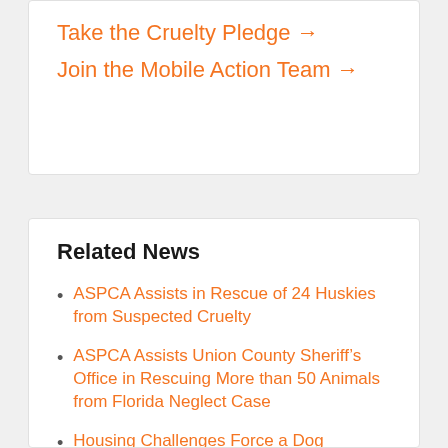Take the Cruelty Pledge →
Join the Mobile Action Team →
Related News
ASPCA Assists in Rescue of 24 Huskies from Suspected Cruelty
ASPCA Assists Union County Sheriff's Office in Rescuing More than 50 Animals from Florida Neglect Case
Housing Challenges Force a Dog Owner's